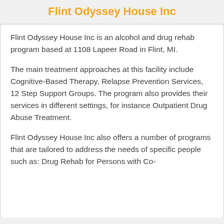Flint Odyssey House Inc
Flint Odyssey House Inc is an alcohol and drug rehab program based at 1108 Lapeer Road in Flint, MI.
The main treatment approaches at this facility include Cognitive-Based Therapy, Relapse Prevention Services, 12 Step Support Groups. The program also provides their services in different settings, for instance Outpatient Drug Abuse Treatment.
Flint Odyssey House Inc also offers a number of programs that are tailored to address the needs of specific people such as: Drug Rehab for Persons with Co-